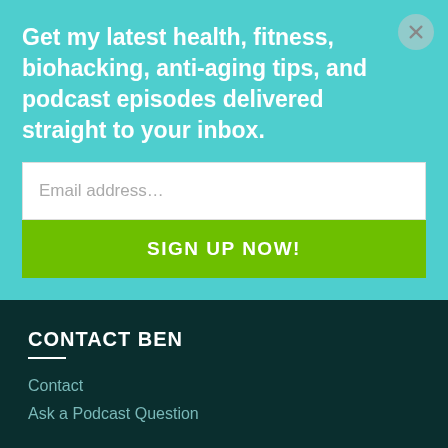Get my latest health, fitness, biohacking, anti-aging tips, and podcast episodes delivered straight to your inbox.
[Figure (screenshot): Email address input field (text input box with placeholder 'Email address...')]
[Figure (screenshot): Green 'SIGN UP NOW!' button]
CONTACT BEN
Contact
Ask a Podcast Question
[Figure (infographic): Social media icons: Instagram, Facebook, Twitter, YouTube]
RECENT POSTS